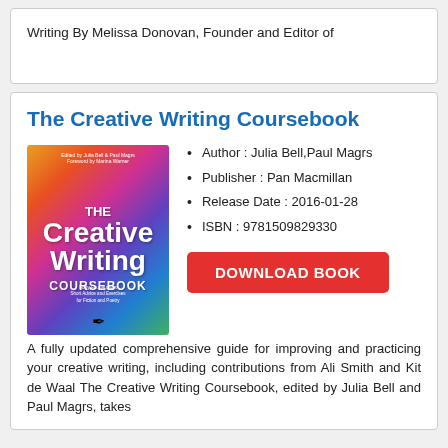Writing By Melissa Donovan, Founder and Editor of
The Creative Writing Coursebook
Author : Julia Bell,Paul Magrs
Publisher : Pan Macmillan
Release Date : 2016-01-28
ISBN : 9781509829330
[Figure (illustration): Book cover of The Creative Writing Coursebook with colorful balloon design]
DOWNLOAD BOOK
A fully updated comprehensive guide for improving and practicing your creative writing, including contributions from Ali Smith and Kit de Waal The Creative Writing Coursebook, edited by Julia Bell and Paul Magrs, takes